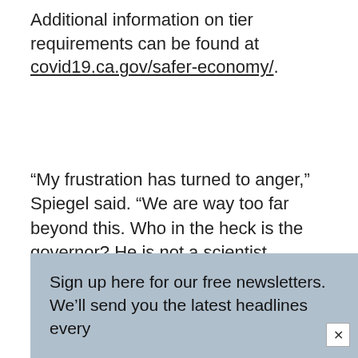Additional information on tier requirements can be found at covid19.ca.gov/safer-economy/.
“My frustration has turned to anger,” Spiegel said. “We are way too far beyond this. Who in the heck is the governor? He is not a scientist … We’re going to be putting the nail in the coffin of more businesses.”
Sign up here for our free newsletters. We’ll send you the latest headlines every